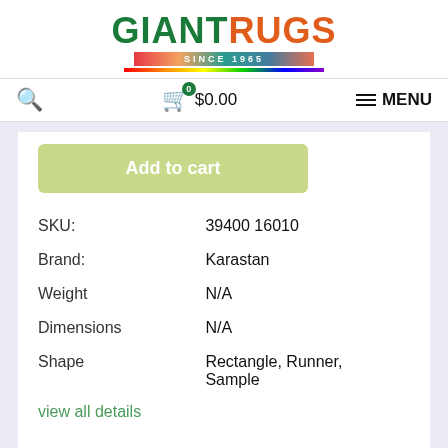[Figure (logo): GiantRugs logo with 'SINCE 1965' tagline and rainbow bar]
Search | Cart 0 $0.00 | MENU
Add to cart
| SKU: | 39400 16010 |
| Brand: | Karastan |
| Weight | N/A |
| Dimensions | N/A |
| Shape | Rectangle, Runner, Sample |
view all details